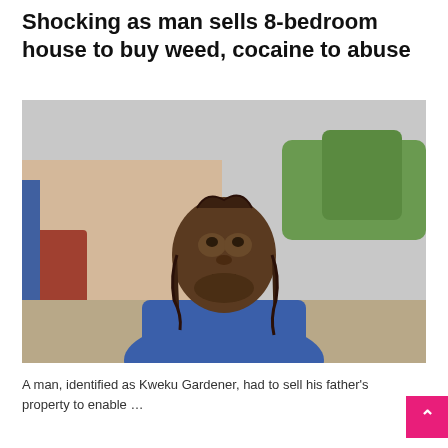Shocking as man sells 8-bedroom house to buy weed, cocaine to abuse
[Figure (photo): A man wearing a blue shirt being interviewed outdoors, with a blurred background showing a building and trees.]
A man, identified as Kweku Gardener, had to sell his father's property to enable …